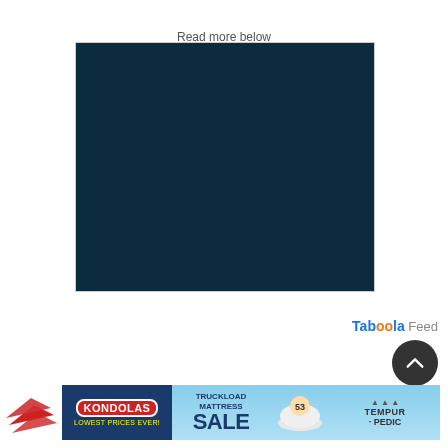Read more below
[Figure (photo): Dark navy blue solid rectangle, likely a placeholder or video frame]
Taboola Feed
[Figure (illustration): Dark circular scroll-to-top button with upward chevron arrow]
[Figure (logo): Red layered chevron/wing logo on the left side]
[Figure (infographic): Kondolas Truckload Mattress Sale advertisement banner featuring Tempur-Pedic]